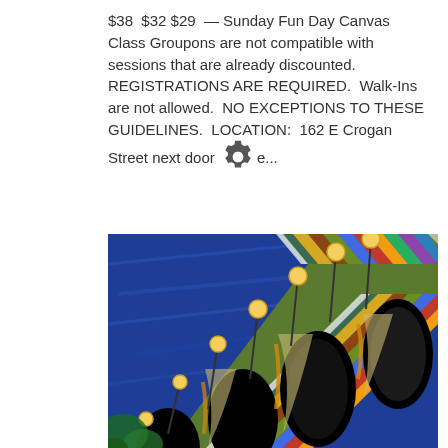$38  $32 $29  — Sunday Fun Day Canvas Class Groupons are not compatible with sessions that are already discounted.   REGISTRATIONS ARE REQUIRED.  Walk-Ins are not allowed.  NO EXCEPTIONS TO THESE GUIDELINES.  LOCATION:  162 E Crogan Street next door [gear icon] e...
[Figure (photo): A colorful painting of an arched bridge (viaduct) viewed from below at an angle, with decorative lamp posts topped with yellow circular lights, set against a vivid blue sky. The bridge arches are painted in multicolored stripes of green, blue, gold, and brown. The background is deep blue representing sky.]